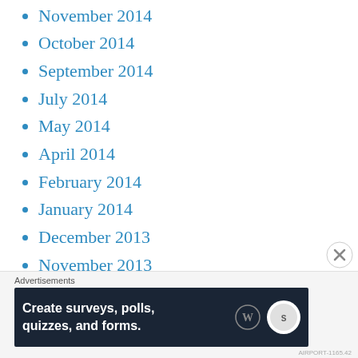November 2014
October 2014
September 2014
July 2014
May 2014
April 2014
February 2014
January 2014
December 2013
November 2013
October 2013
August 2013
June 2013
April 2013 (partial)
Advertisements
Create surveys, polls, quizzes, and forms.